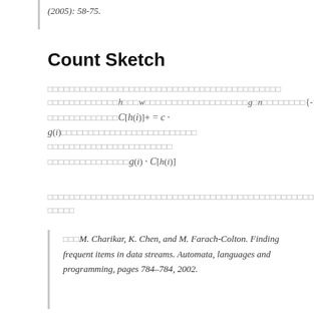(2005): 58-75.
Count Sketch
[placeholder text] h [placeholder] w [placeholder] g n [placeholder] {-1,1} [placeholder] C[h(i)]+ = c · g(i) [placeholder] [placeholder] g(i) · C[h(i)]
[placeholder text lines]
□□□M. Charikar, K. Chen, and M. Farach-Colton. Finding frequent items in data streams. Automata, languages and programming, pages 784–784, 2002.